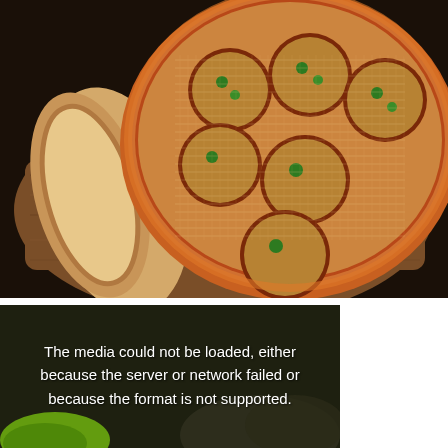[Figure (photo): A terracotta dish with 6 round wells containing baked items topped with breadcrumbs, cheese and fresh herbs, sitting on a wooden serving board alongside slices of toasted bread]
[Figure (photo): A partially visible food/drink media player showing an error message over a dark background with a lime green object visible at the bottom]
The media could not be loaded, either because the server or network failed or because the format is not supported.